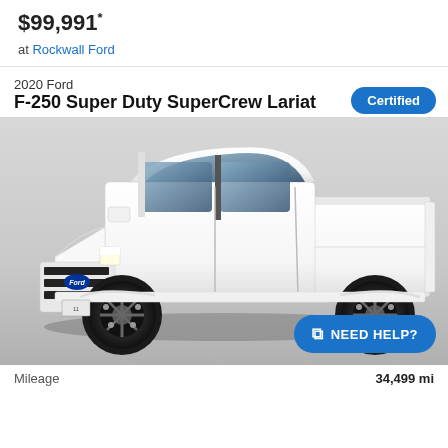$99,991*
at Rockwall Ford
Certified
2020 Ford
F-250 Super Duty SuperCrew Lariat
[Figure (photo): White 2020 Ford F-250 Super Duty SuperCrew Lariat lifted truck with black aftermarket wheels, photographed on a gray tile surface]
NEED HELP?
Mileage  34,499 mi